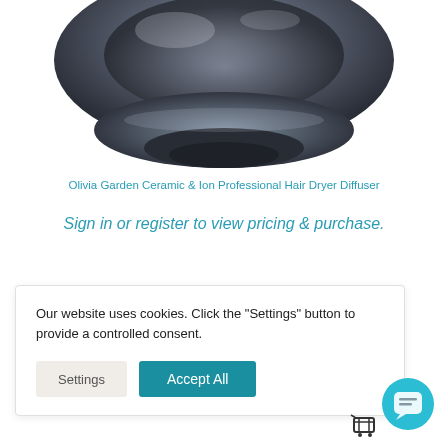[Figure (photo): Product photo of a black/dark chrome hair dryer diffuser attachment, metallic finish, shown from above against white background — partially cropped at top]
Olivia Garden Ceramic & Ion Professional Hair Dryer Diffuser
Sign in or register to view pricing & purchase.
Our website uses cookies. Click the "Settings" button to provide a controlled consent.
[Figure (illustration): Teal circular chat/messaging button with speech bubble icon, bottom right corner]
[Figure (illustration): Shopping cart icon, bottom right area]